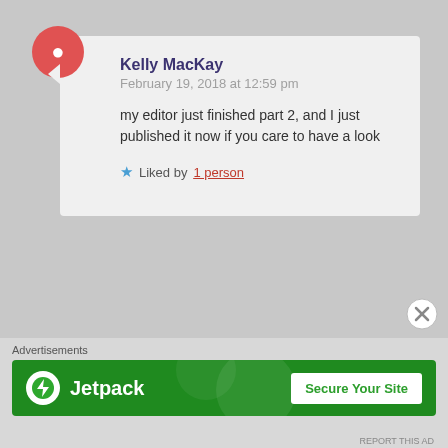Kelly MacKay
February 19, 2018 at 12:59 pm
my editor just finished part 2, and I just published it now if you care to have a look
Liked by 1 person
Nicole Joan
February 20, 2018 at 3:07 am
Right away
Like
Advertisements
[Figure (logo): Jetpack logo with 'Secure Your Site' button on green background]